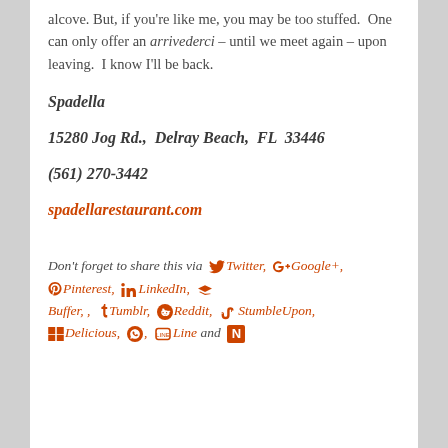alcove. But, if you're like me, you may be too stuffed.  One can only offer an arrivederci – until we meet again – upon leaving.  I know I'll be back.
Spadella
15280 Jog Rd.,  Delray Beach,  FL  33446
(561) 270-3442
spadellarestaurant.com
Don't forget to share this via Twitter, Google+, Pinterest, LinkedIn, Buffer, , Tumblr, Reddit, StumbleUpon, Delicious, WhatsApp, Line and N